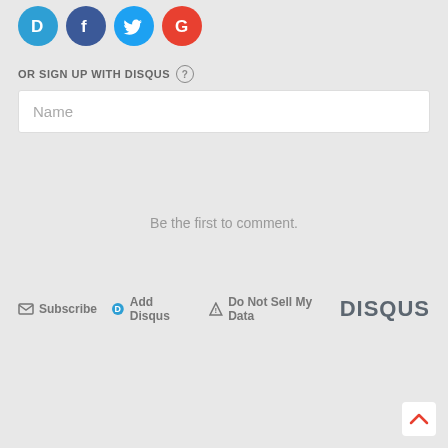[Figure (other): Social login icons: Disqus (blue D), Facebook (dark blue F), Twitter (light blue bird), Google (red G) as circular icon buttons]
OR SIGN UP WITH DISQUS ?
Name
Be the first to comment.
Subscribe  Add Disqus  Do Not Sell My Data  DISQUS